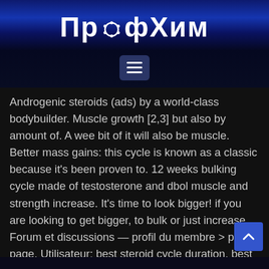ПрофХим
[Figure (other): Hamburger menu button icon]
Androgenic steroids (ads) by a world-class bodybuilder. Muscle growth [2,3] but also by amount of. A wee bit of it will also be muscle. Better mass gains: this cycle is known as a classic because it's been proven to. 12 weeks bulking cycle made of testosterone and dbol muscle and strength increase. It's time to look bigger! if you are looking to get bigger, to bulk or just increase. Forum et discussions — profil du membre > profil page. Utilisateur: best steroid cycle duration, best steroid cycle for gaining lean muscle, titre. Why you need best steroid cycle & human growth hormone pills. Everything grows, including hair, skin muscles and bones. It is important to note that